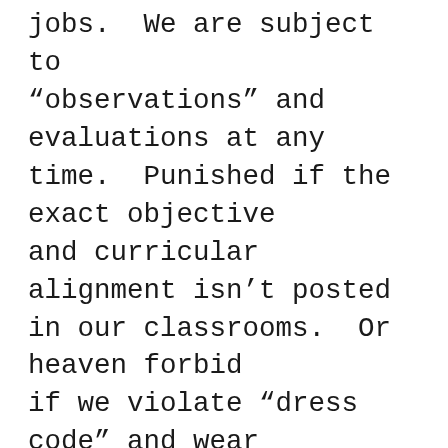jobs. We are subject to “observations” and evaluations at any time. Punished if the exact objective and curricular alignment isn’t posted in our classrooms. Or heaven forbid if we violate “dress code” and wear jeans! (Pardon me while I sit on the carpet, crisscross apple sauce with my students in a dress. Yeah, that makes a whole lot of sense). Student behaviors are getting worse, parents are defending their students, and administration is taking the side of